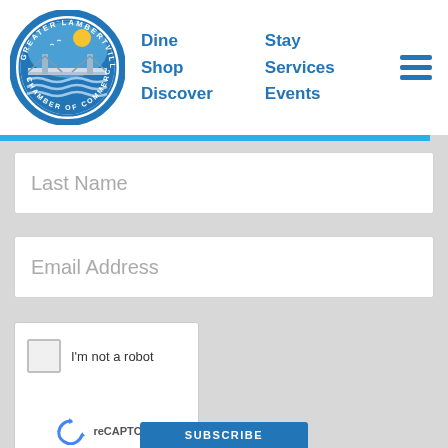[Figure (logo): Greater Lambertville Chamber of Commerce circular seal logo with bridge and water imagery]
Dine  Stay
Shop  Services
Discover  Events
Last Name
Email Address
[Figure (other): reCAPTCHA widget with checkbox 'I'm not a robot', reCAPTCHA logo, Privacy and Terms links]
SUBSCRIBE